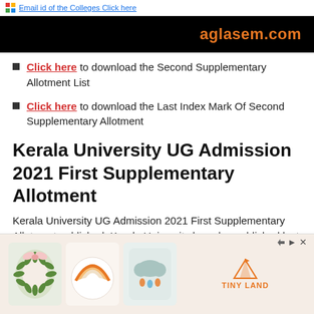Email id of the Colleges Click here
[Figure (logo): aglasem.com banner logo on black background]
Click here to download the Second Supplementary Allotment List
Click here to download the Last Index Mark Of Second Supplementary Allotment
Kerala University UG Admission 2021 First Supplementary Allotment
Kerala University UG Admission 2021 First Supplementary Allotment published. Kerala University has also published last index mark of First
[Figure (photo): Advertisement banner showing decorative items: a green wreath, a rainbow plate, a cloud pillow, and Tiny Land logo]